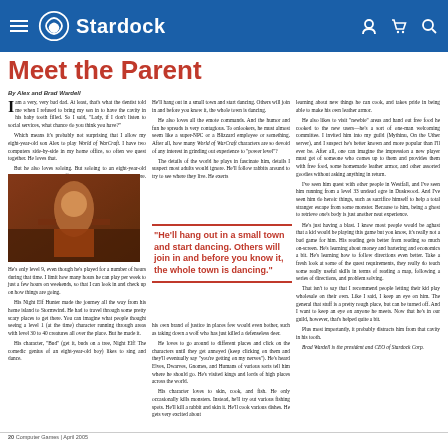Stardock (navigation bar with logo, hamburger menu, user/cart/search icons)
Meet the Parent
By Alex and Brad Wardell
I am a very, very bad dad. At least, that's what the dentist told me when I refused to bring my son in to have the cavity in his baby tooth filled. So I said, "Lady, if I don't listen to social services, what chance do you think you have?" Which means it's probably not surprising that I allow my eight-year-old son Alex to play World of WarCraft. I have two computers side-by-side in my home office, so often we quest together. He loves that. But he also loves soloing. But soloing to an eight-year-old means something very different to power levelers elsewhere. He's been playing since the day it came out.
[Figure (photo): Player character in World of Warcraft, orange/brown toned screenshot]
He's only level 9, even though he's played for a number of hours during that time. I limit how many hours he can play per week to just a few hours on weekends, so that I can look in and check up on how things are going. His Night Elf Hunter made the journey all the way from his home island to Stormwind. He had to travel through some pretty scary places to get there. You can imagine what people thought seeing a level 1 (at the time) character running through areas with level 30 to 40 creatures all over the place. But he made it. His character, "Bud" (get it, buds on a tree, Night Elf! The comedic genius of an eight-year-old boy) likes to sing and dance.
He'll hang out in a small town and start dancing. Others will join in and before you know it, the whole town is dancing. He also loves all the emote commands. And the humor and fun he spreads is very contagious. To onlookers, he must almost seem like a super-NPC or a Blizzard employee or something. After all, how many World of WarCraft characters are so devoid of any interest in grinding out experience to "power level"? The details of the world he plays in fascinate him, details I suspect most adults would ignore. He'll follow rabbits around to try to see where they live. He exerts his own brand of justice in places few would even bother, such as taking down a wolf who has just killed a defenseless deer. He loves to go around to different places and click on the characters until they get annoyed (keep clicking on them and they'll eventually say "you're getting on my nerves"). He's heard Elves, Dwarves, Gnomes, and Humans of various sorts tell him where he should go. He's visited kings and lords of high places across the world. His character loves to skin, cook, and fish. He only occasionally kills monsters. Instead, he'll try out various fishing spots. He'll kill a rabbit and skin it. He'll cook various dishes. He gets very excited about
learning about new things he can cook, and takes pride in being able to make his own leather armor. He also likes to visit "newbie" areas and hand out free food he cooked to the new users—he's a sort of one-man welcoming committee. I invited him into my guild (Mythinu, On the Uther server), and I suspect he's better known and more popular than I'll ever be. After all, one can imagine the impression a new player must get of someone who comes up to them and provides them with free food, some homemade leather armor, and other assorted goodies without asking anything in return. I've seen him quest with other people in Westfall, and I've seen him running from a level 33 undead ogre in Duskwood. And I've seen him do heroic things, such as sacrifice himself to help a total stranger escape from some monster. Because to him, being a ghost to retrieve one's body is just another neat experience. He's just having a blast. I know most people would be aghast that a kid would be playing this game but you know, it's really not a bad game for him. His reading gets better from reading so much on-screen. He's learning about money and bartering and economics a bit. He's learning how to follow directions even better. Take a fresh look at some of the quest requirements, they really do teach some really useful skills in terms of reading a map, following a series of directions, and problem solving. That isn't to say that I recommend people letting their kid play wholesale on their own. Like I said, I keep an eye on him. The general that stuff is a pretty rough place, but can be turned off. And I want to keep an eye on anyone he meets. Now that he's in our guild, however, that's helped quite a bit. Plus most importantly, it probably distracts him from that cavity in his tooth. Brad Wardell is the president and CEO of Stardock Corp.
"He'll hang out in a small town and start dancing. Others will join in and before you know it, the whole town is dancing."
20 Computer Games | April 2005